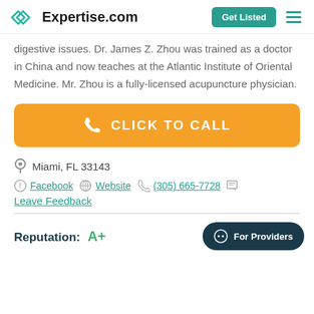Expertise.com — Get Listed
digestive issues. Dr. James Z. Zhou was trained as a doctor in China and now teaches at the Atlantic Institute of Oriental Medicine. Mr. Zhou is a fully-licensed acupuncture physician.
CLICK TO CALL
Miami, FL 33143
Facebook  Website  (305) 665-7728  Leave Feedback
Reputation: A+